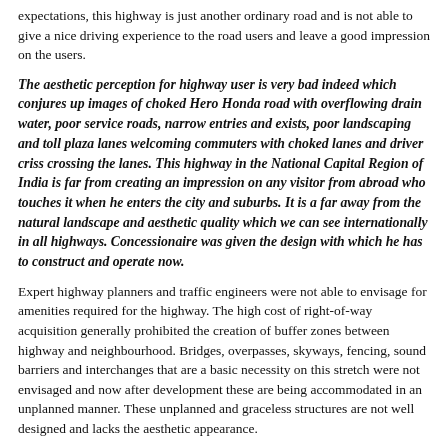expectations, this highway is just another ordinary road and is not able to give a nice driving experience to the road users and leave a good impression on the users.
The aesthetic perception for highway user is very bad indeed which conjures up images of choked Hero Honda road with overflowing drain water, poor service roads, narrow entries and exists, poor landscaping and toll plaza lanes welcoming commuters with choked lanes and driver criss crossing the lanes. This highway in the National Capital Region of India is far from creating an impression on any visitor from abroad who touches it when he enters the city and suburbs. It is a far away from the natural landscape and aesthetic quality which we can see internationally in all highways. Concessionaire was given the design with which he has to construct and operate now.
Expert highway planners and traffic engineers were not able to envisage for amenities required for the highway. The high cost of right-of-way acquisition generally prohibited the creation of buffer zones between highway and neighbourhood. Bridges, overpasses, skyways, fencing, sound barriers and interchanges that are a basic necessity on this stretch were not envisaged and now after development these are being accommodated in an unplanned manner. These unplanned and graceless structures are not well designed and lacks the aesthetic appearance.